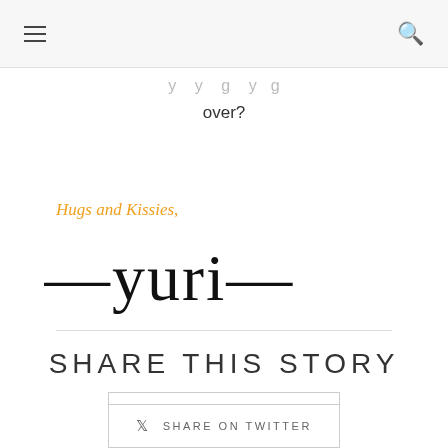☰  🔍
…y…y…g…y…g over?
Hugs and Kissies,
[Figure (illustration): Handwritten signature reading '—yuri—' in stylized cursive script]
SHARE THIS STORY
f  SHARE ON FACEBOOK
🐦  SHARE ON TWITTER